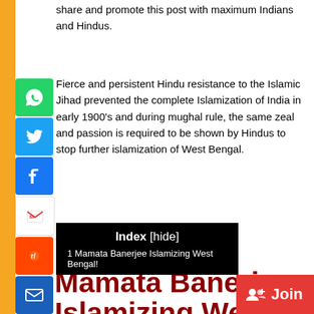share and promote this post with maximum Indians and Hindus.
Fierce and persistent Hindu resistance to the Islamic Jihad prevented the complete Islamization of India in early 1900’s and during mughal rule, the same zeal and passion is required to be shown by Hindus to stop further islamization of West Bengal.
Mamata Banerjee Islamizing West Bengal!
Index [hide]
1 Mamata Banerjee Islamizing West Bengal!